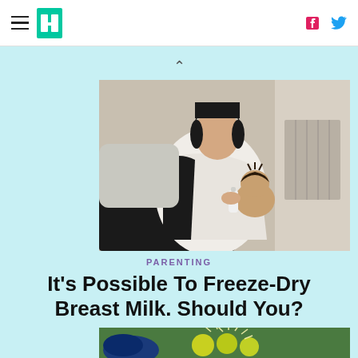HuffPost navigation with hamburger menu, logo, Facebook and Twitter icons
[Figure (photo): A woman with short dark hair feeding a baby with a bottle while seated on a couch]
PARENTING
It's Possible To Freeze-Dry Breast Milk. Should You?
[Figure (photo): Bottom partial image showing colorful balls with light rays on a green background]